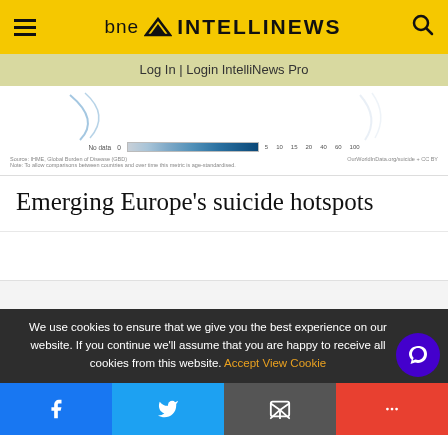bne INTELLINEWS
Log In | Login IntelliNews Pro
[Figure (map): Partial view of a world map showing suicide rates by country with a blue color gradient legend. Legend shows: No data, 0, 5, 10, 15, 20, 40, 60, 100. Source: IHME, Global Burden of Disease (GBD). Note: To allow comparisons between countries and over time this metric is age-standardised. OurWorldInData.org/suicide + CC BY]
Emerging Europe’s suicide hotspots
We use cookies to ensure that we give you the best experience on our website. If you continue we’ll assume that you are happy to receive all cookies from this website. Accept  View Cookie
Facebook  Twitter  Email  More